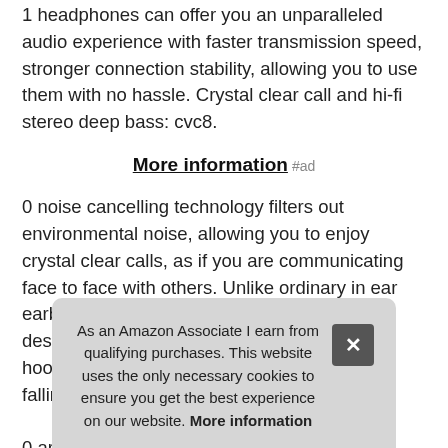1 headphones can offer you an unparalleled audio experience with faster transmission speed, stronger connection stability, allowing you to use them with no hassle. Crystal clear call and hi-fi stereo deep bass: cvc8.
More information #ad
0 noise cancelling technology filters out environmental noise, allowing you to enjoy crystal clear calls, as if you are communicating face to face with others. Unlike ordinary in ear earbuds, coucur wireless headphones are designed with soft, flexible and secure fit ear hooks aimed at fully fitting your ears without falling out even for intense workouts.
0 ar... earp... it fo... hea... the earbuds provide up to 6-7 hours of listening or talking time,
As an Amazon Associate I earn from qualifying purchases. This website uses the only necessary cookies to ensure you get the best experience on our website. More information